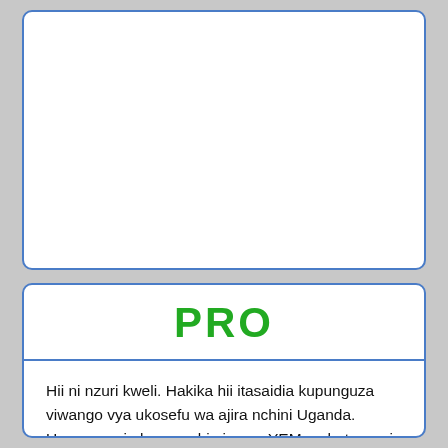[Figure (other): Empty white card with blue border, top section of the page]
PRO
Hii ni nzuri kweli. Hakika hii itasaidia kupunguza viwango vya ukosefu wa ajira nchini Uganda. Unaweza pia kuwaambia juu ya YEM na hata wazi pernum kwa